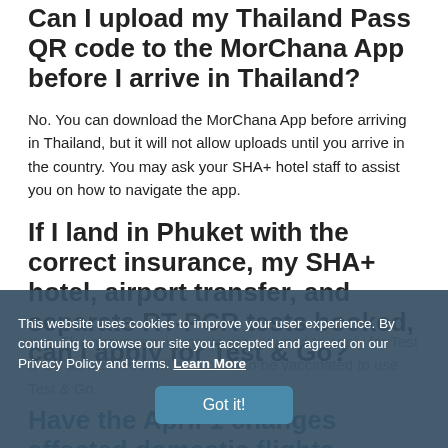Can I upload my Thailand Pass QR code to the MorChana App before I arrive in Thailand?
No. You can download the MorChana App before arriving in Thailand, but it will not allow uploads until you arrive in the country. You may ask your SHA+ hotel staff to assist you on how to navigate the app.
If I land in Phuket with the correct insurance, my SHA+ hotel, airport transfer, and separate RT-PCR tests booked, can I apply for Test & Go?
Yes. The above requirements are required to apply for Test & Go as well. You will also need to be vaccinated to use Test & Go.
Have the April 1 changes affected domestic flights
This website uses cookies to improve your user experience. By continuing to browse our site you accepted and agreed on our Privacy Policy and terms. Learn More